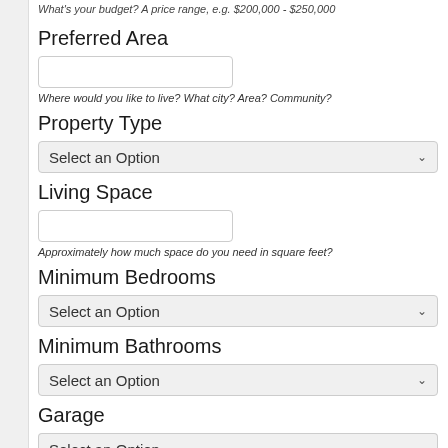What's your budget? A price range, e.g. $200,000 - $250,000
Preferred Area
[Figure (screenshot): Text input field for Preferred Area]
Where would you like to live? What city? Area? Community?
Property Type
[Figure (screenshot): Dropdown select box showing 'Select an Option']
Living Space
[Figure (screenshot): Text input field for Living Space]
Approximately how much space do you need in square feet?
Minimum Bedrooms
[Figure (screenshot): Dropdown select box showing 'Select an Option']
Minimum Bathrooms
[Figure (screenshot): Dropdown select box showing 'Select an Option']
Garage
[Figure (screenshot): Dropdown select box showing 'Select an Option' (partially visible)]